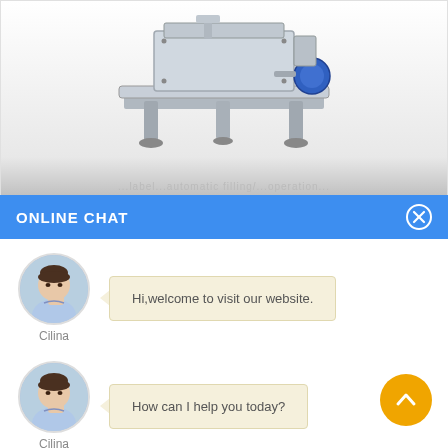[Figure (photo): Industrial filling/labeling machine on white-to-gray gradient background, metallic steel conveyor machine with blue component]
...label...automatic filling/...operation...
ONLINE CHAT
[Figure (photo): Avatar photo of female agent named Cilina in light blue shirt]
Cilina
Hi,welcome to visit our website.
[Figure (photo): Avatar photo of female agent named Cilina in light blue shirt]
Cilina
How can I help you today?